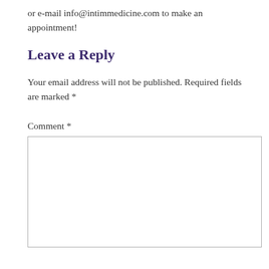or e-mail info@intimmedicine.com to make an appointment!
Leave a Reply
Your email address will not be published. Required fields are marked *
Comment *